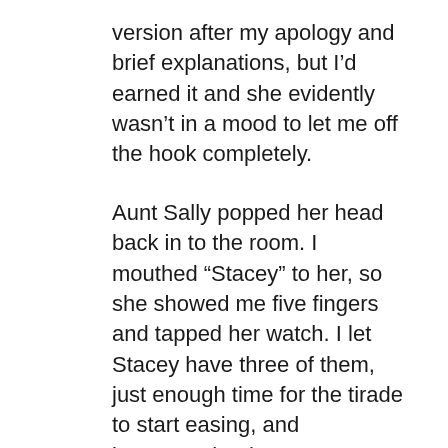version after my apology and brief explanations, but I'd earned it and she evidently wasn't in a mood to let me off the hook completely.
Aunt Sally popped her head back in to the room. I mouthed “Stacey” to her, so she showed me five fingers and tapped her watch. I let Stacey have three of them, just enough time for the tirade to start easing, and interrupted. “I have to go, Stace. My bath is ready. I’ll call as soon as I’m out.”
I owed her a complete explanation after what had happened the previous night. At least the bath would give me some time to come up with one. I’d thought it would in any case. Sally kept up a running banter all the way through , asking what